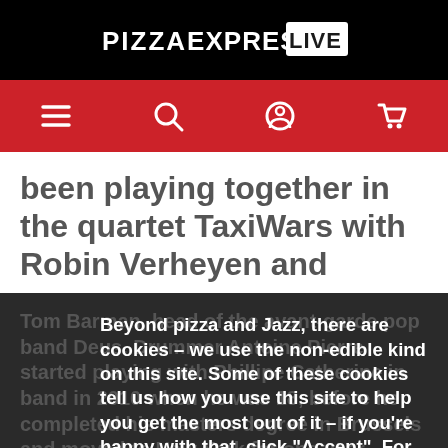PIZZAEXPRESS LIVE
[Figure (other): Red navigation bar with hamburger menu, search, account, and cart icons in white]
been playing together in the quartet TaxiWars with Robin Verheyen and
Tom Barman, head of the avant-garde pop band Deus. Drummer Antoine Pierre started playing with Phillipe Catherine in band in 2010 when he was 18, before he completed his masters degree in Brussels and moved to New York for one year.
Beyond pizza and Jazz, there are cookies – we use the non-edible kind on this site. Some of these cookies tell us how you use this site to help you get the most out of it – if you're happy with that, click "Accept". For information on the cookies used, click on More about cookies .